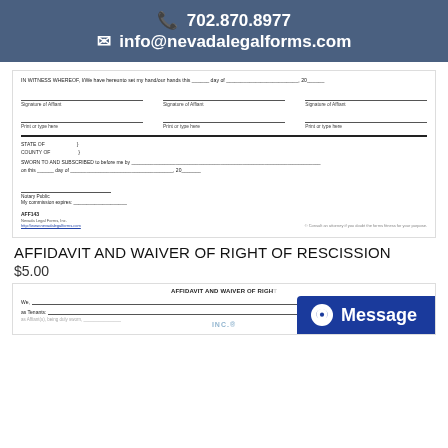702.870.8977  info@nevadalegalforms.com
[Figure (other): Partial view of a legal form showing witness signature lines, state/county section, sworn/subscribed section, notary public section, and form ID AFF143 for Nevada Legal Forms.]
AFFIDAVIT AND WAIVER OF RIGHT OF RESCISSION
$5.00
[Figure (other): Bottom preview of the same affidavit form showing title 'AFFIDAVIT AND WAIVER OF RIGHT' and beginning fill-in lines for 'We,' and 'as Tenants:' with a Message chat button overlay.]